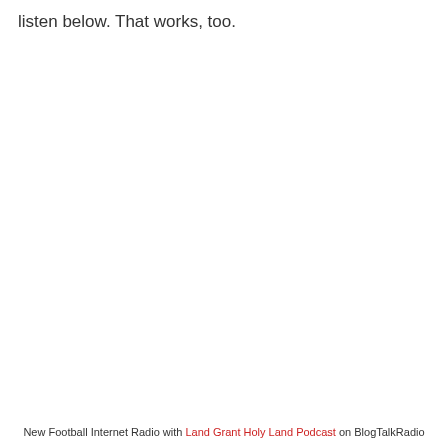listen below. That works, too.
New Football Internet Radio with Land Grant Holy Land Podcast on BlogTalkRadio